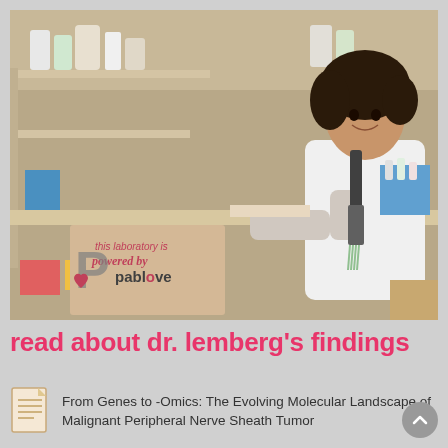[Figure (photo): A female researcher in a white lab coat smiling at the camera while using a multi-channel pipette at a laboratory bench. Lab shelves with reagent bottles, tubes, and supplies visible in background. A 'powered by pablove' sign visible in the lower left foreground.]
read about dr. lemberg's findings
[Figure (illustration): Document/paper icon with lines indicating text]
From Genes to -Omics: The Evolving Molecular Landscape of Malignant Peripheral Nerve Sheath Tumor